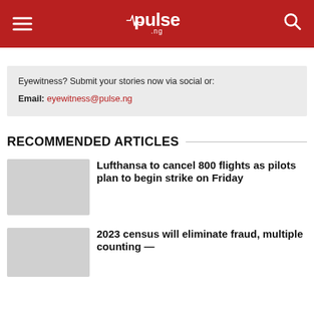pulse .ng
Eyewitness? Submit your stories now via social or:
Email: eyewitness@pulse.ng
RECOMMENDED ARTICLES
Lufthansa to cancel 800 flights as pilots plan to begin strike on Friday
2023 census will eliminate fraud, multiple counting —